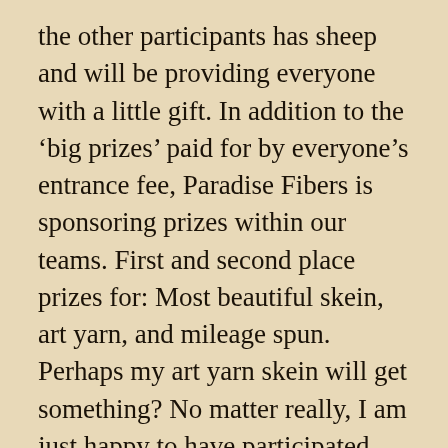the other participants has sheep and will be providing everyone with a little gift. In addition to the ‘big prizes’ paid for by everyone’s entrance fee, Paradise Fibers is sponsoring prizes within our teams. First and second place prizes for: Most beautiful skein, art yarn, and mileage spun. Perhaps my art yarn skein will get something? No matter really, I am just happy to have participated and spun up some of my stash.
Actually that reminds me, I took this opportunity to spin 2 and 3 ply samples of my Unicorn in the Library by Hipstrings as well as my October box by Paradise Fibers. Now I